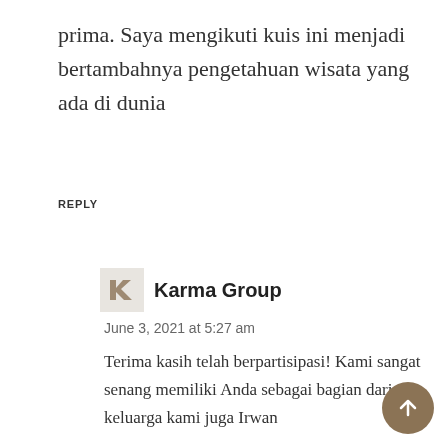prima. Saya mengikuti kuis ini menjadi bertambahnya pengetahuan wisata yang ada di dunia
REPLY
[Figure (logo): Karma Group logo - stylized K letter on light beige square background]
Karma Group
June 3, 2021 at 5:27 am
Terima kasih telah berpartisipasi! Kami sangat senang memiliki Anda sebagai bagian dari keluarga kami juga Irwan